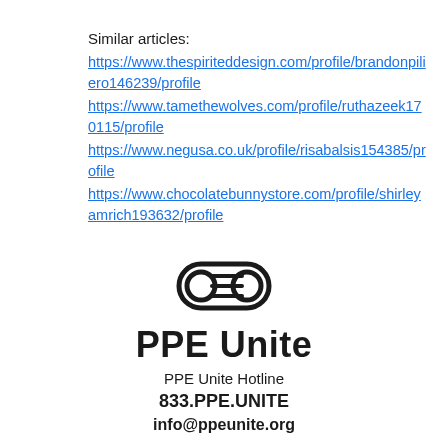Similar articles:
https://www.thespiriteddesign.com/profile/brandonpiliero146239/profile
https://www.tamethewolves.com/profile/ruthazeek170115/profile
https://www.negusa.co.uk/profile/risabalsis154385/profile
https://www.chocolatebunnystore.com/profile/shirleyamrich193632/profile
[Figure (logo): PPE Unite logo — a shield/capsule shape with horizontal lines inside]
PPE Unite
PPE Unite Hotline
833.PPE.UNITE
info@ppeunite.org